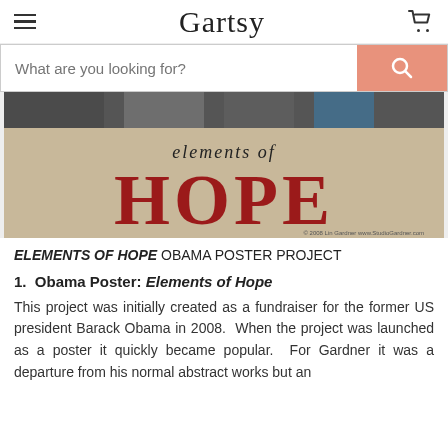Gartsy
[Figure (screenshot): Search bar with placeholder text 'What are you looking for?' and an orange search button with a magnifying glass icon]
[Figure (photo): Elements of Hope Obama poster artwork — tan background with red brush-lettered 'HOPE' and script 'elements of' above it, with black and white photo strip along the top]
ELEMENTS OF HOPE OBAMA POSTER PROJECT
1.  Obama Poster: Elements of Hope
This project was initially created as a fundraiser for the former US president Barack Obama in 2008.  When the project was launched as a poster it quickly became popular.  For Gardner it was a departure from his normal abstract works but an